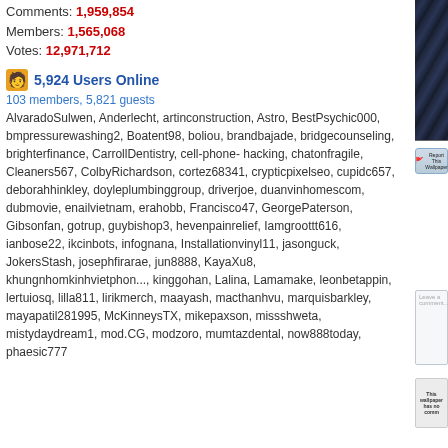Comments: 1,959,854
Members: 1,565,068
Votes: 12,971,712
5,924 Users Online
103 members, 5,821 guests
AlvaradoSulwen, Anderlecht, artinconstruction, Astro, BestPsychic000, bmpressurewashing2, Boatent98, boliou, brandbajade, bridgecounseling, brighterfinance, CarrollDentistry, cell-phone-hacking, chatonfragile, Cleaners567, ColbyRichardson, cortez68341, crypticpixelseo, cupidc657, deborahhinkley, doyleplumbinggroup, driverjoe, duanvinhomescom, dubmovie, enailvietnam, erahobb, Francisco47, GeorgePaterson, Gibsonfan, gotrup, guybishop3, hevenpainrelief, Iamgroottt616, ianbose22, ikcinbots, infognana, Installationvinyl11, jasonguck, JokersStash, josephfirarae, jun8888, KayaXu8, khungnhomkinhvietphon..., kinggohan, Lalina, Lamamake, leonbetappin, lertuiosq, lilla811, lirikmerch, maayash, macthanhvu, marquisbarkley, mayapatil281995, McKinneysTX, mikepaxson, missshweta, mistydaydream1, mod.CG, modzoro, mumtazdental, now888today, phaesic777
[Figure (screenshot): Dark fantasy wallpaper image partially visible on right side]
Report This Wallpaper
Add To F
Leave a comment...
This wallpaper has no comm